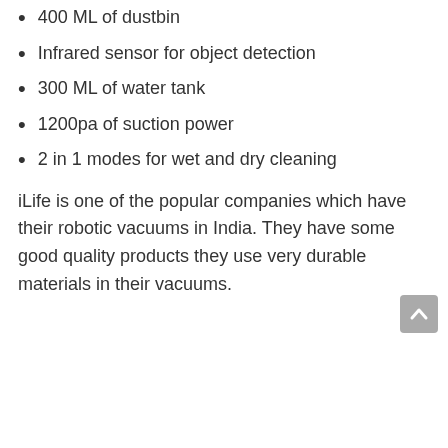400 ML of dustbin
Infrared sensor for object detection
300 ML of water tank
1200pa of suction power
2 in 1 modes for wet and dry cleaning
iLife is one of the popular companies which have their robotic vacuums in India. They have some good quality products they use very durable materials in their vacuums.